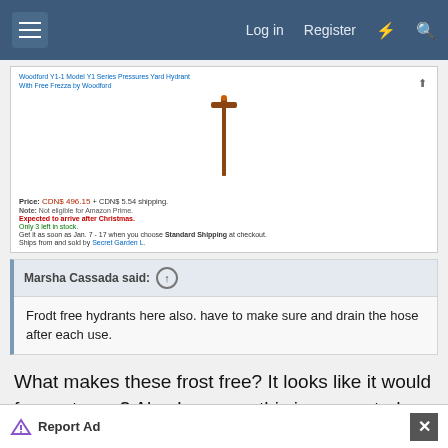Log in  Register
[Figure (screenshot): Screenshot of Amazon product listing for Woodford Y1 Series Pressure Yard Hydrant, showing product image of a yard hydrant, price CDN$ 496.15 + CDN$ 5.54 shipping, Note: Not eligible for Amazon Prime, Expected to arrive after Christmas in red, Only 3 left in stock in green, Get it as soon as Jan. 7 - 17 when you choose Standard Shipping at checkout, Ships from and sold by Secret Garden L.]
Marsha Cassada said: ↑
Frodt free hydrants here also. have to make sure and drain the hose after each use.
What makes these frost free? It looks like it would freeze to me? Also I assume this is connected directly to the well line somehow? There wasn't much of a
Report Ad